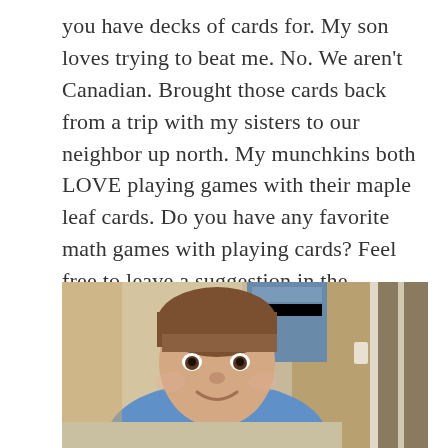you have decks of cards for. My son loves trying to beat me. No. We aren't Canadian. Brought those cards back from a trip with my sisters to our neighbor up north. My munchkins both LOVE playing games with their maple leaf cards. Do you have any favorite math games with playing cards? Feel free to leave a suggestion in the comments! I'm always looking for new games to play!
[Figure (photo): A young boy with short brown hair wearing a blue t-shirt, smiling at the camera. He is in a room with shelving visible in the background and a door frame to the right.]